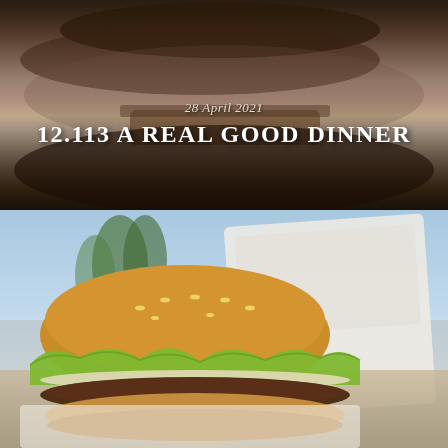[Figure (photo): Top portion: overhead photo of dark food dish on a wooden cutting board on a gray surface.]
28 April 2021
12.113 A REAL GOOD DINNER
[Figure (photo): A large burger with sesame bun, lettuce, tomato, onion, and beef patty served on white wrapper paper, with a street scene visible in the background. UI icon buttons (envelope, document, chat, settings) are overlaid on the image.]